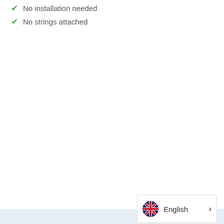No installation needed
No strings attached
[Figure (other): Language selector widget showing UK flag and 'English' label with a right chevron arrow]